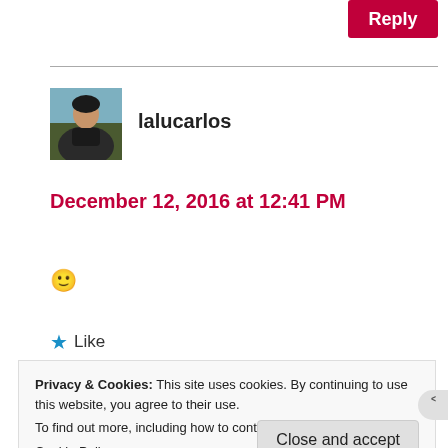Reply
[Figure (photo): Avatar photo of user lalucarlos — appears to be a person outdoors]
lalucarlos
December 12, 2016 at 12:41 PM
🙂
★ Like
Privacy & Cookies: This site uses cookies. By continuing to use this website, you agree to their use.
To find out more, including how to control cookies, see here:
Cookie Policy
Close and accept